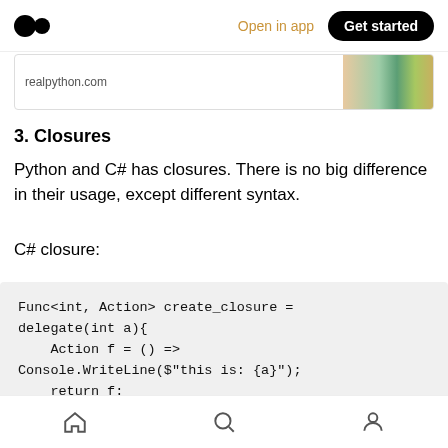Open in app  Get started
[Figure (screenshot): Link card showing realpython.com with book cover image on the right]
3. Closures
Python and C# has closures. There is no big difference in their usage, except different syntax.
C# closure:
Func<int, Action> create_closure = delegate(int a){
    Action f = () =>
Console.WriteLine($"this is: {a}");
    return f;
Home  Search  Profile